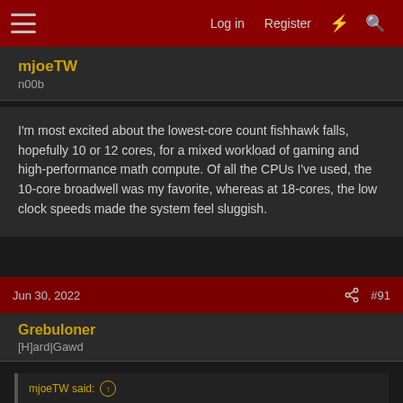Log in | Register | [what's new] | [search]
mjoeTW
n00b
I'm most excited about the lowest-core count fishhawk falls, hopefully 10 or 12 cores, for a mixed workload of gaming and high-performance math compute. Of all the CPUs I've used, the 10-core broadwell was my favorite, whereas at 18-cores, the low clock speeds made the system feel sluggish.
Jun 30, 2022 | #91
Grebuloner
[H]ard|Gawd
mjoeTW said: whereas at 18-cores, the low clock speeds made the system feel sluggish.